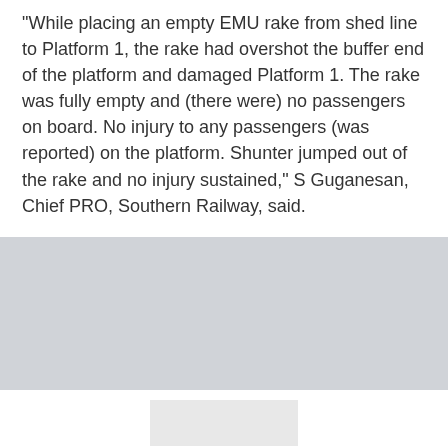"While placing an empty EMU rake from shed line to Platform 1, the rake had overshot the buffer end of the platform and damaged Platform 1. The rake was fully empty and (there were) no passengers on board. No injury to any passengers (was reported) on the platform. Shunter jumped out of the rake and no injury sustained," S Guganesan, Chief PRO, Southern Railway, said.
[Figure (other): Gray placeholder/advertisement area with a dark chevron/down-arrow button at bottom right]